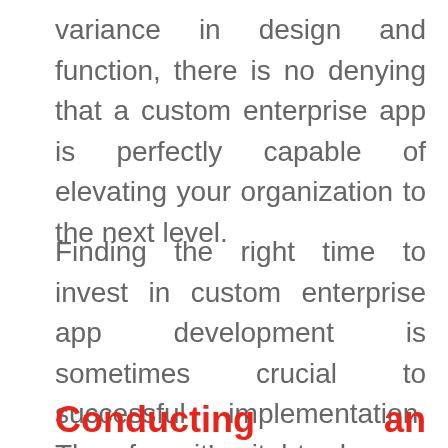variance in design and function, there is no denying that a custom enterprise app is perfectly capable of elevating your organization to the next level.
Finding the right time to invest in custom enterprise app development is sometimes crucial to successful implementation. Therefore, it's vital to do your due diligence before pulling the trigger on custom enterprise app development to make sure that you're setting yourself up for success.
Conducting an Internal